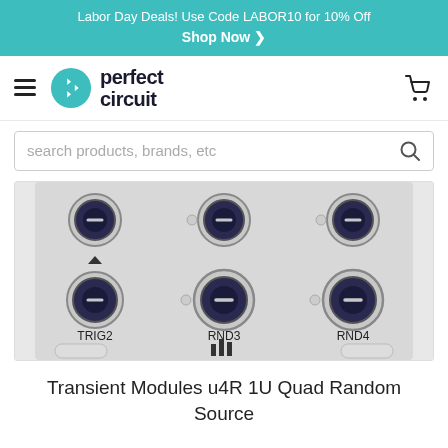Labor Day Deals! Use Code LABOR10 for 10% Off
Shop Now ❯
[Figure (logo): Perfect Circuit logo with hamburger menu and cart icon navigation bar]
[Figure (photo): Close-up photo of a Eurorack synthesizer module (Transient Modules u4R 1U Quad Random Source) showing knobs and jacks labeled TRIG2, RND3, RND4 on a silver panel]
Transient Modules u4R 1U Quad Random Source